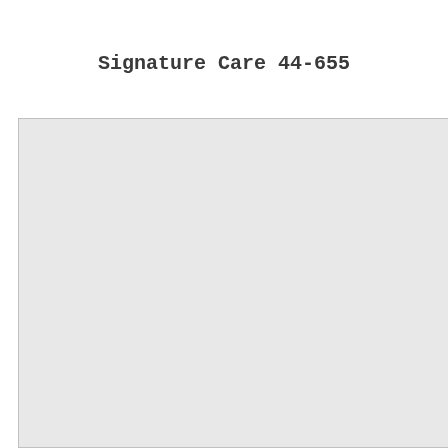Signature Care 44-655
[Figure (other): Large light gray rectangular box occupying the lower portion of the page, bordered with a thin gray line.]